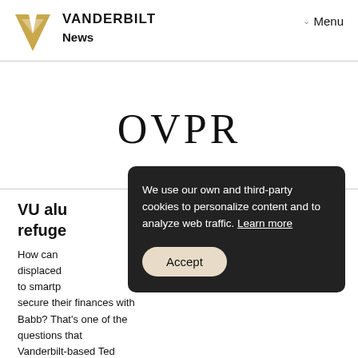VANDERBILT News
[Figure (logo): Vanderbilt University gold V logo with VANDERBILT wordmark and News subheading, with Menu navigation]
OVPR
VU alu refuge
How can displaced to smartp secure their finances with Babb? That's one of the questions that Vanderbilt-based Ted Sommers and Nat Babb...
We use our own and third-party cookies to personalize content and to analyze web traffic. Learn more